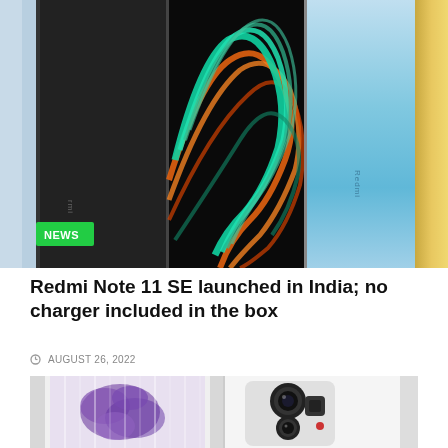[Figure (photo): Three Redmi smartphones displayed side by side showing their backs: a dark/graphite model on the left, a model with colorful glowing swirl design in the center, a blue/silver model on the right, and a partial gold-colored model on the far right. A green NEWS badge is overlaid on the bottom-left of the image.]
Redmi Note 11 SE launched in India; no charger included in the box
AUGUST 26, 2022
[Figure (photo): Two smartphones shown: one with a purple floral/artistic back panel on the left, and a white smartphone showing its rear camera module with multiple lenses on the right.]